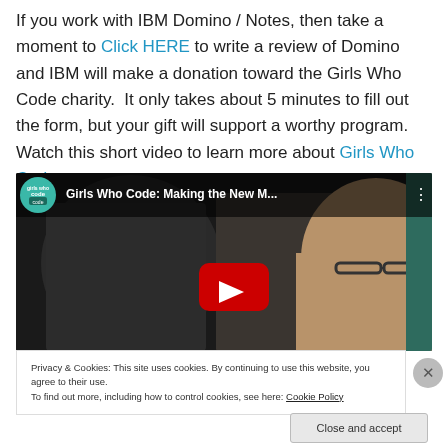If you work with IBM Domino / Notes, then take a moment to Click HERE to write a review of Domino and IBM will make a donation toward the Girls Who Code charity. It only takes about 5 minutes to fill out the form, but your gift will support a worthy program. Watch this short video to learn more about Girls Who Code.
[Figure (screenshot): YouTube video embed showing Girls Who Code: Making the New M... with two young women looking at a screen, YouTube play button overlay]
Privacy & Cookies: This site uses cookies. By continuing to use this website, you agree to their use. To find out more, including how to control cookies, see here: Cookie Policy
Close and accept